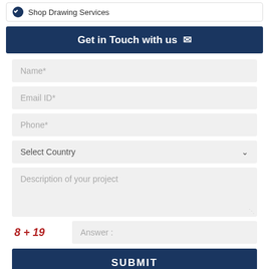Shop Drawing Services
Get in Touch with us
Name*
Email ID*
Phone*
Select Country
Description of your project
8 + 19   Answer :
SUBMIT